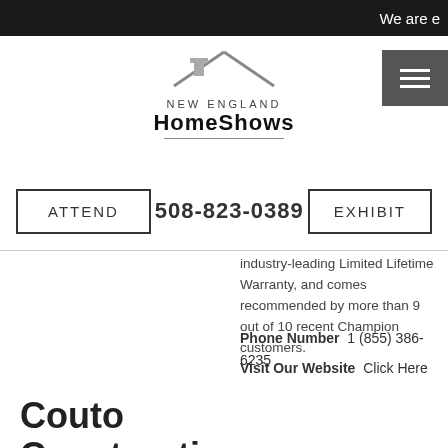We are e
[Figure (logo): New England HomeShows logo with house/roof graphic, text NEW ENGLAND HOMESHOWS]
ATTEND   508-823-0389   EXHIBIT
industry-leading Limited Lifetime Warranty, and comes recommended by more than 9 out of 10 recent Champion customers.
Phone Number  1 (855) 386-6235
Visit Our Website  Click Here
Couto Construction